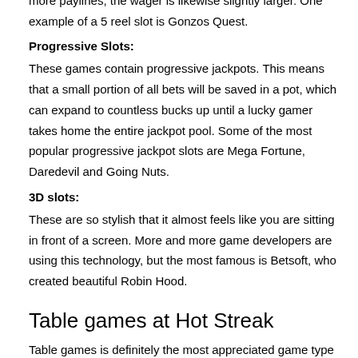and so on. Considering that the games consist of even more paylines, the wager is likewise slightly larger. One example of a 5 reel slot is Gonzos Quest.
Progressive Slots:
These games contain progressive jackpots. This means that a small portion of all bets will be saved in a pot, which can expand to countless bucks up until a lucky gamer takes home the entire jackpot pool. Some of the most popular progressive jackpot slots are Mega Fortune, Daredevil and Going Nuts.
3D slots:
These are so stylish that it almost feels like you are sitting in front of a screen. More and more game developers are using this technology, but the most famous is Betsoft, who created beautiful Robin Hood.
Table games at Hot Streak
Table games is definitely the most appreciated game type in